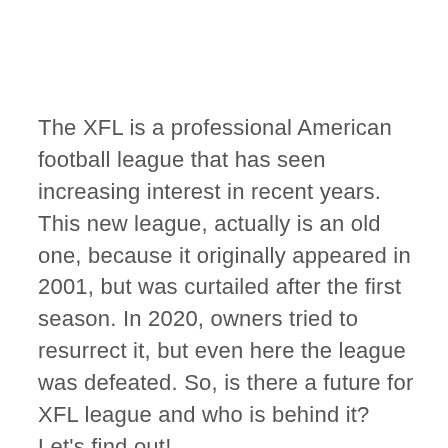The XFL is a professional American football league that has seen increasing interest in recent years. This new league, actually is an old one, because it originally appeared in 2001, but was curtailed after the first season. In 2020, owners tried to resurrect it, but even here the league was defeated. So, is there a future for XFL league and who is behind it? Let's find out!